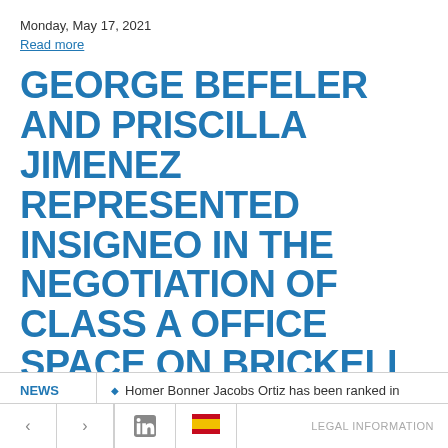Monday, May 17, 2021
Read more
GEORGE BEFELER AND PRISCILLA JIMENEZ REPRESENTED INSIGNEO IN THE NEGOTIATION OF CLASS A OFFICE SPACE ON BRICKELL AVENUE.
Tuesday, March 9, 2021
George Befeler and Priscilla Jimenez represented Insigneo in the
NEWS
Homer Bonner Jacobs Ortiz has been ranked in
< > LinkedIn [Spanish flag] LEGAL INFORMATION